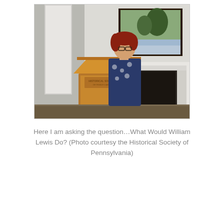[Figure (photo): A woman with red hair and glasses wearing a blue patterned dress stands at a wooden lectern/podium in a formal room. Behind her is a fireplace with a white mantle and a framed landscape painting on the wall.]
Here I am asking the question…What Would William Lewis Do? (Photo courtesy the Historical Society of Pennsylvania)